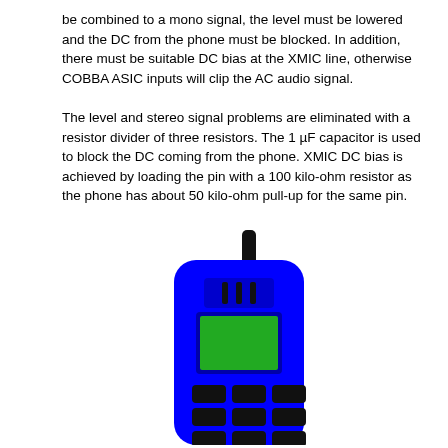be combined to a mono signal, the level must be lowered and the DC from the phone must be blocked. In addition, there must be suitable DC bias at the XMIC line, otherwise COBBA ASIC inputs will clip the AC audio signal.
The level and stereo signal problems are eliminated with a resistor divider of three resistors. The 1 µF capacitor is used to block the DC coming from the phone. XMIC DC bias is achieved by loading the pin with a 100 kilo-ohm resistor as the phone has about 50 kilo-ohm pull-up for the same pin.
[Figure (illustration): Illustration of a blue mobile/cellular phone handset with a black antenna at the top right, a green display screen, a speaker grille with three vertical bars, and a keypad with 12 dark rectangular buttons arranged in a 3x4 grid. Below the phone body is a black connector/accessory dongle with a small gray rectangular element.]